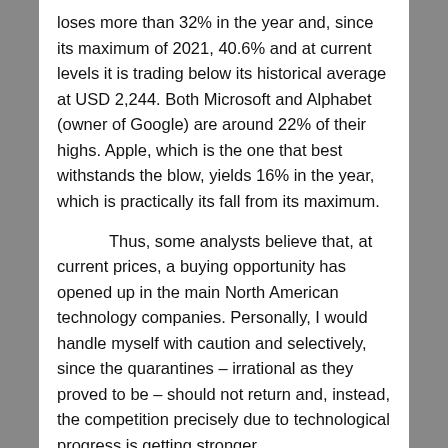loses more than 32% in the year and, since its maximum of 2021, 40.6% and at current levels it is trading below its historical average at USD 2,244. Both Microsoft and Alphabet (owner of Google) are around 22% of their highs. Apple, which is the one that best withstands the blow, yields 16% in the year, which is practically its fall from its maximum.
Thus, some analysts believe that, at current prices, a buying opportunity has opened up in the main North American technology companies. Personally, I would handle myself with caution and selectively, since the quarantines – irrational as they proved to be – should not return and, instead, the competition precisely due to technological progress is getting stronger.
One of the reasons that encourages the fall of Wall Street is the strength of the euro, but...